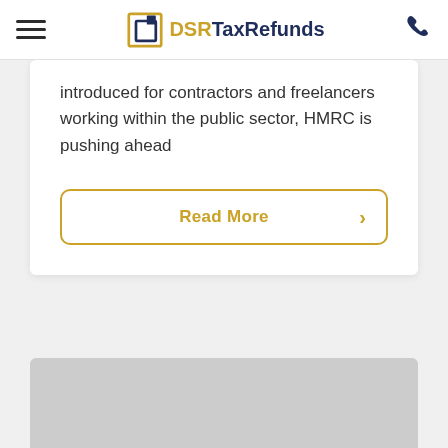DSR TaxRefunds
introduced for contractors and freelancers working within the public sector, HMRC is pushing ahead
Read More
[Figure (photo): Gray placeholder image area at the bottom of the page]